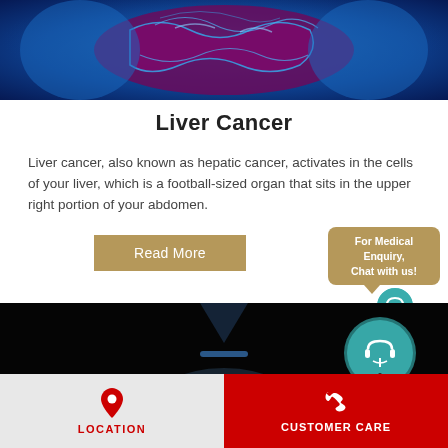[Figure (photo): Medical illustration of human intestines/liver in blue glowing X-ray style]
Liver Cancer
Liver cancer, also known as hepatic cancer, activates in the cells of your liver, which is a football-sized organ that sits in the upper right portion of your abdomen.
[Figure (infographic): Read More button in tan/gold color, with a chat bubble saying 'For Medical Enquiry, Chat with us!' and a medical customer support icon]
[Figure (photo): Dark abstract medical/technology visual with glowing arcs on black background]
LOCATION
CUSTOMER CARE